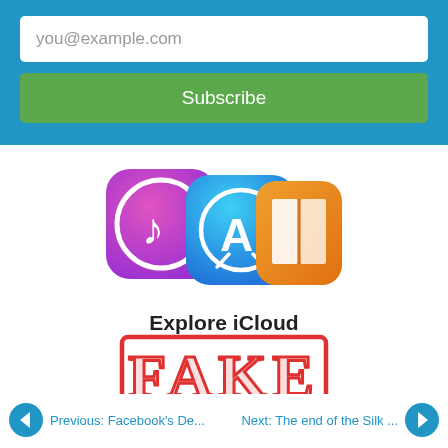[Figure (screenshot): Email subscription form with blue background, white email input field showing 'you@example.com' placeholder and a green Subscribe button]
[Figure (illustration): Three Apple app icons side by side: iTunes/Music (pink/purple gradient with musical note), App Store (blue with compass/A letter), and iBooks (orange with open book). Text below reads 'Explore iCloud'. A red FAKE stamp overlay is shown across the lower portion.]
Explore iCloud
[Figure (other): Red FAKE stamp rectangle overlay]
Previous: Facebook's De...
Next: The end of the Silk ...